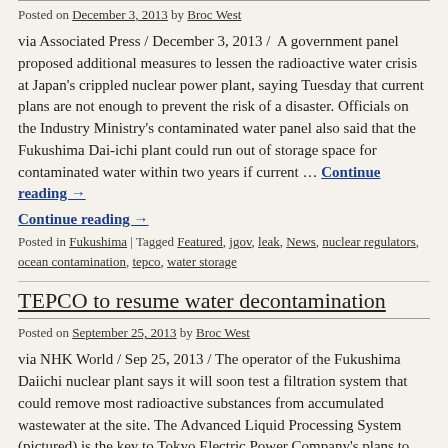Posted on December 3, 2013 by Broc West
via Associated Press / December 3, 2013 /  A government panel proposed additional measures to lessen the radioactive water crisis at Japan's crippled nuclear power plant, saying Tuesday that current plans are not enough to prevent the risk of a disaster. Officials on the Industry Ministry's contaminated water panel also said that the Fukushima Dai-ichi plant could run out of storage space for contaminated water within two years if current … Continue reading →
Continue reading →
Posted in Fukushima | Tagged Featured, jgov, leak, News, nuclear regulators, ocean contamination, tepco, water storage
TEPCO to resume water decontamination
Posted on September 25, 2013 by Broc West
via NHK World / Sep 25, 2013 / The operator of the Fukushima Daiichi nuclear plant says it will soon test a filtration system that could remove most radioactive substances from accumulated wastewater at the site. The Advanced Liquid Processing System (pictured) is the key to Tokyo Electric Power Company's plans to